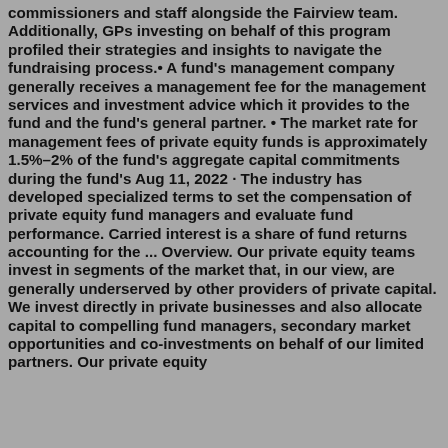commissioners and staff alongside the Fairview team. Additionally, GPs investing on behalf of this program profiled their strategies and insights to navigate the fundraising process.• A fund's management company generally receives a management fee for the management services and investment advice which it provides to the fund and the fund's general partner. • The market rate for management fees of private equity funds is approximately 1.5%–2% of the fund's aggregate capital commitments during the fund's Aug 11, 2022 · The industry has developed specialized terms to set the compensation of private equity fund managers and evaluate fund performance. Carried interest is a share of fund returns accounting for the ... Overview. Our private equity teams invest in segments of the market that, in our view, are generally underserved by other providers of private capital. We invest directly in private businesses and also allocate capital to compelling fund managers, secondary market opportunities and co-investments on behalf of our limited partners. Our private equity